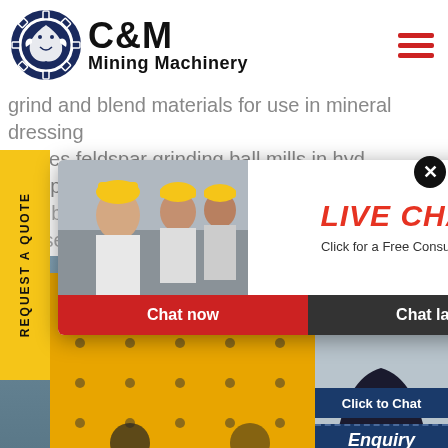[Figure (logo): C&M Mining Machinery logo with eagle/gear circle icon in dark blue, company name in bold black text]
grind and blend materials for use in mineral dressing cesses feldspar grinding ball mills in hyd feldspar ding ball mills in hyd 19 jan 2014 get the price of mill ser
[Figure (infographic): Live Chat popup overlay showing workers in hard hats, LIVE CHAT title in red, Click for a Free Consultation subtitle, Chat now (red) and Chat later (dark) buttons. Close button (X) in top right corner.]
[Figure (photo): Yellow industrial mining machine (ball mill) photographed in factory setting with industrial background]
[Figure (photo): Female customer service representative with headset smiling, with Click to Chat and Enquiry labels below]
REQUEST A QUOTE
Hours online
Click to Chat
Enquiry